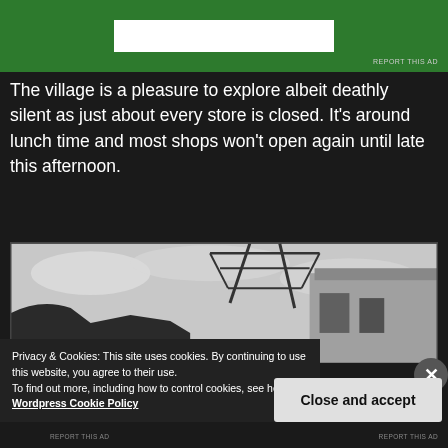[Figure (other): Green advertisement banner with white box, 'REPORT THIS AD' label below]
The village is a pleasure to explore albeit deathly silent as just about every store is closed. It's around lunch time and most shops won't open again until late this afternoon.
[Figure (photo): Black and white photograph showing building rooftops with metal scaffolding or antenna structure against a light sky]
Privacy & Cookies: This site uses cookies. By continuing to use this website, you agree to their use.
To find out more, including how to control cookies, see here: Wordpress Cookie Policy
Close and accept